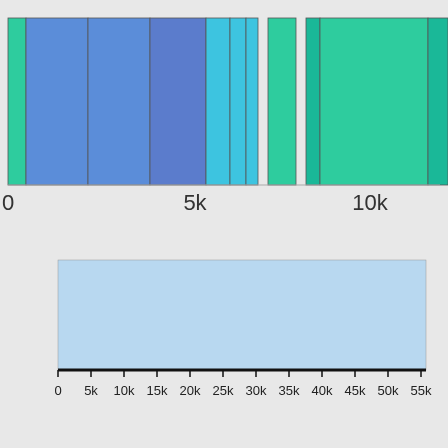[Figure (stacked-bar-chart): A horizontal stacked bar showing multiple colored segments: green, blue (multiple shades), cyan, gap, green, small teal, large green, teal at right edge. Scale from 0 to ~12k.]
[Figure (bar-chart): A single horizontal light-blue bar spanning from approximately 0 to 55k. X-axis labeled 0 to 55k in 5k increments.]